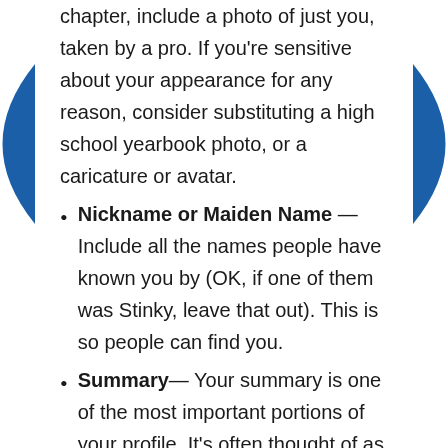chapter, include a photo of just you, taken by a pro. If you're sensitive about your appearance for any reason, consider substituting a high school yearbook photo, or a caricature or avatar.
Nickname or Maiden Name — Include all the names people have known you by (OK, if one of them was Stinky, leave that out). This is so people can find you.
Summary— Your summary is one of the most important portions of your profile. It's often thought of as your elevator pitch — the pitch you'd give if on an elevator ride with a prospective customer. However, you can feel free to make it a bit longer than that, since you also have to appeal to search engines.You